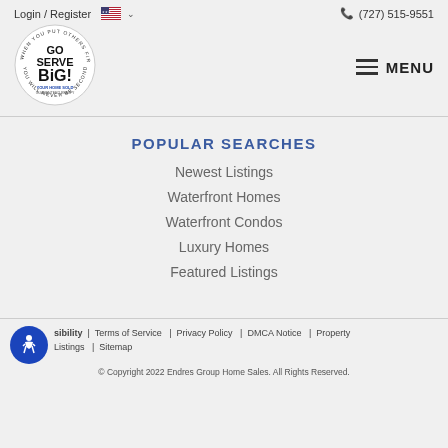Login / Register  (727) 515-9551
[Figure (logo): Go Serve Big! Your Home Sold Guaranteed Realty circular logo]
POPULAR SEARCHES
Newest Listings
Waterfront Homes
Waterfront Condos
Luxury Homes
Featured Listings
Accessibility | Terms of Service | Privacy Policy | DMCA Notice | Property Listings | Sitemap
© Copyright 2022 Endres Group Home Sales. All Rights Reserved.